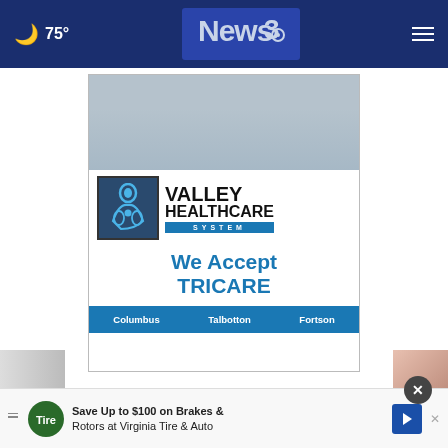75° News3 [navigation]
[Figure (advertisement): Valley Healthcare System advertisement - We Accept TRICARE - locations: Columbus, Talbotton, Fortson]
MORE BINOCULARS, MICROSCOPES & TELE
[Figure (advertisement): Save Up to $100 on Brakes & Rotors at Virginia Tire & Auto - banner ad with close button]